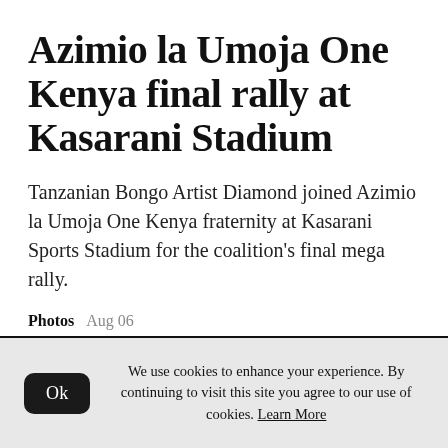Azimio la Umoja One Kenya final rally at Kasarani Stadium
Tanzanian Bongo Artist Diamond joined Azimio la Umoja One Kenya fraternity at Kasarani Sports Stadium for the coalition's final mega rally.
Photos  Aug 06
We use cookies to enhance your experience. By continuing to visit this site you agree to our use of cookies. Learn More